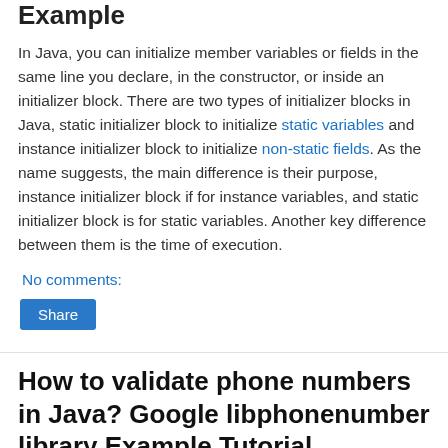Example
In Java, you can initialize member variables or fields in the same line you declare, in the constructor, or inside an initializer block. There are two types of initializer blocks in Java, static initializer block to initialize static variables and instance initializer block to initialize non-static fields. As the name suggests, the main difference is their purpose, instance initializer block if for instance variables, and static initializer block is for static variables. Another key difference between them is the time of execution.
No comments:
Share
How to validate phone numbers in Java? Google libphonenumber library Example Tutorial
Hello guys, if you are wondering how to validate if a given